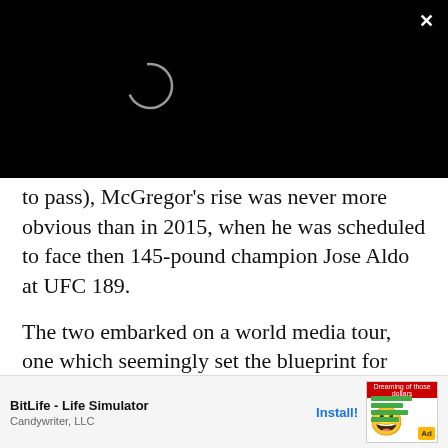[Figure (screenshot): Black video player area with a loading spinner circle and a white X close button in top right corner]
to pass), McGregor's rise was never more obvious than in 2015, when he was scheduled to face then 145-pound champion Jose Aldo at UFC 189.
The two embarked on a world media tour, one which seemingly set the blueprint for McGregor vs. Mayweather. As the fight approached, attention was rising and rising, only for Aldo to withdraw from the contest via injury. McGregor's subsequent win over late re... f the defini...
[Figure (screenshot): Mobile ad banner: BitLife - Life Simulator by Candywriter, LLC with Install button and game screenshot with Ad badge]